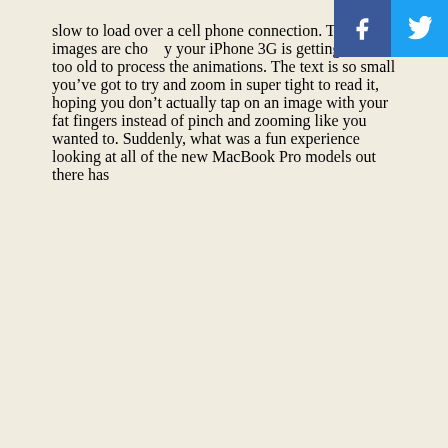slow to load over a cell phone connection. The images are choppy your iPhone 3G is getting a little too old to process the animations. The text is so small you’ve got to try and zoom in super tight to read it, hoping you don’t actually tap on an image with your fat fingers instead of pinch and zooming like you wanted to. Suddenly, what was a fun experience looking at all of the new MacBook Pro models out there has
[Figure (other): Social media sharing buttons: Facebook (blue) and Twitter (light blue) icons in the top-right corner]